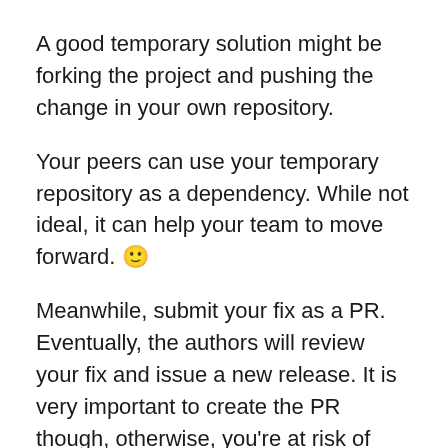A good temporary solution might be forking the project and pushing the change in your own repository.
Your peers can use your temporary repository as a dependency. While not ideal, it can help your team to move forward. 🙂
Meanwhile, submit your fix as a PR. Eventually, the authors will review your fix and issue a new release. It is very important to create the PR though, otherwise, you're at risk of being stuck with a dependency that cannot be updated.
Sometimes, authors will suggest joining core contributors list, and that's awesome-you have the opportunity to take the responsibility and maintain